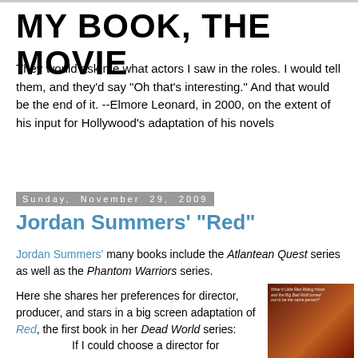MY BOOK, THE MOVIE
They would ask me what actors I saw in the roles. I would tell them, and they'd say “Oh that’s interesting.” And that would be the end of it. --Elmore Leonard, in 2000, on the extent of his input for Hollywood’s adaptation of his novels
Sunday, November 29, 2009
Jordan Summers' "Red"
Jordan Summers' many books include the Atlantean Quest series as well as the Phantom Warriors series.
Here she shares her preferences for director, producer, and stars in a big screen adaptation of Red, the first book in her Dead World series:
[Figure (photo): Book cover of Red by Jordan Summers - dark reddish cover with a figure]
If I could choose a director for